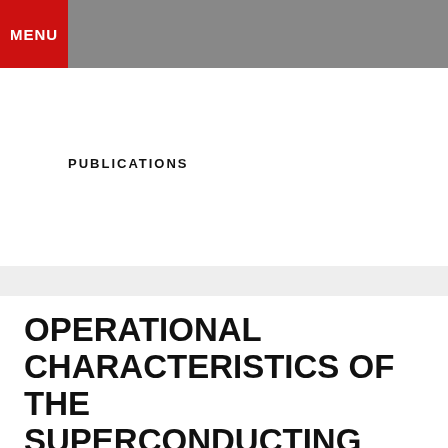MENU
PUBLICATIONS
OPERATIONAL CHARACTERISTICS OF THE SUPERCONDUCTING HIGH FLUX PLASMA GENERATOR